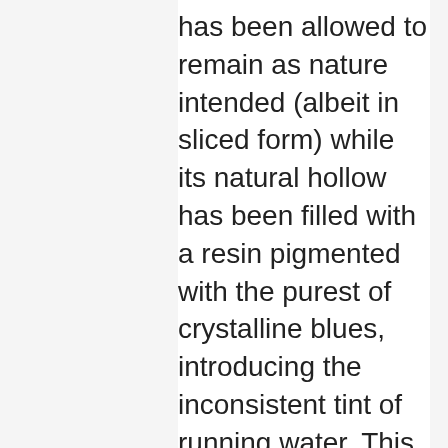has been allowed to remain as nature intended (albeit in sliced form) while its natural hollow has been filled with a resin pigmented with the purest of crystalline blues, introducing the inconsistent tint of running water. This nature-chemical partnership brings together the distinct, the random, and the practical in a show-stopping bar top that celebrates the union of life and industry. For guaranteed admiration, this fantastic, bespoke piece will stimulate conversation, accommodate card games, and contribute aesthetic allure to your drinking establishment. Amazing.
Have we whetted your appetite for a little liquid adulation? We love how these bespoke bar top ideas marry a DIY aesthetic and the quest for individuality, in